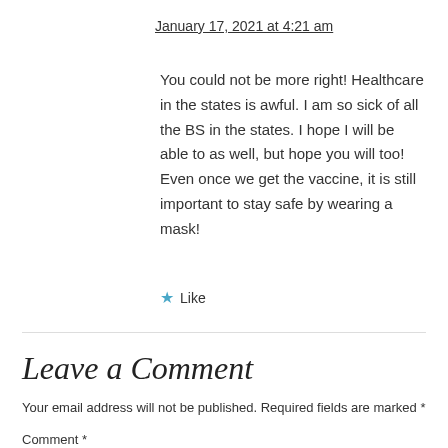January 17, 2021 at 4:21 am
You could not be more right! Healthcare in the states is awful. I am so sick of all the BS in the states. I hope I will be able to as well, but hope you will too! Even once we get the vaccine, it is still important to stay safe by wearing a mask!
★ Like
Leave a Comment
Your email address will not be published. Required fields are marked *
Comment *